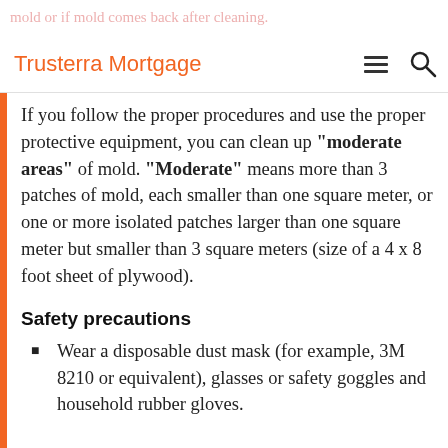mold or if mold comes back after cleaning. Trusterra Mortgage
If you follow the proper procedures and use the proper protective equipment, you can clean up "moderate areas" of mold. "Moderate" means more than 3 patches of mold, each smaller than one square meter, or one or more isolated patches larger than one square meter but smaller than 3 square meters (size of a 4 x 8 foot sheet of plywood).
Safety precautions
Wear a disposable dust mask (for example, 3M 8210 or equivalent), glasses or safety goggles and household rubber gloves.